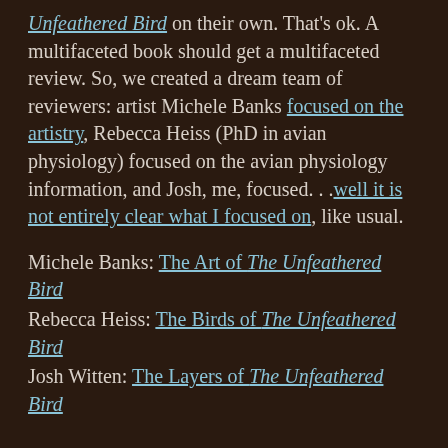Unfeathered Bird on their own. That's ok. A multifaceted book should get a multifaceted review. So, we created a dream team of reviewers: artist Michele Banks focused on the artistry, Rebecca Heiss (PhD in avian physiology) focused on the avian physiology information, and Josh, me, focused. . .well it is not entirely clear what I focused on, like usual.
Michele Banks: The Art of The Unfeathered Bird
Rebecca Heiss: The Birds of The Unfeathered Bird
Josh Witten: The Layers of The Unfeathered Bird